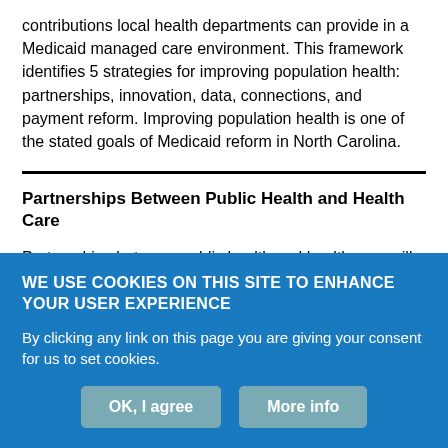contributions local health departments can provide in a Medicaid managed care environment. This framework identifies 5 strategies for improving population health: partnerships, innovation, data, connections, and payment reform. Improving population health is one of the stated goals of Medicaid reform in North Carolina.
Partnerships Between Public Health and Health Care
Partnerships between public health and health care will be critical in a Medicaid managed care environment in order to ensure a comprehensive view of factors affecting health outside the scope of
WE USE COOKIES ON THIS SITE TO ENHANCE YOUR USER EXPERIENCE

By clicking any link on this page you are giving your consent for us to set cookies.